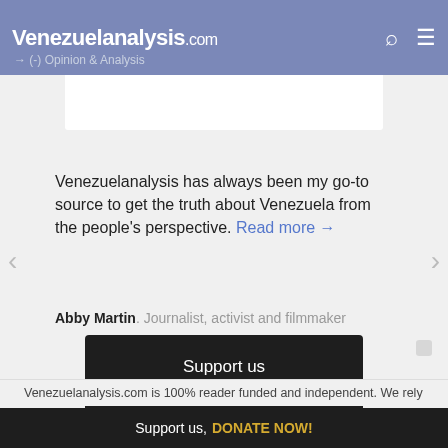Venezuelanalysis.com
→ (-) Opinion & Analysis
Venezuelanalysis has always been my go-to source to get the truth about Venezuela from the people's perspective. Read more →
Abby Martin. Journalist, activist and filmmaker
[Figure (infographic): Dark donation box with text 'Support us' and 'DONATE NOW!' in gold letters]
Venezuelanalysis.com is 100% reader funded and independent. We rely
Support us, DONATE NOW!